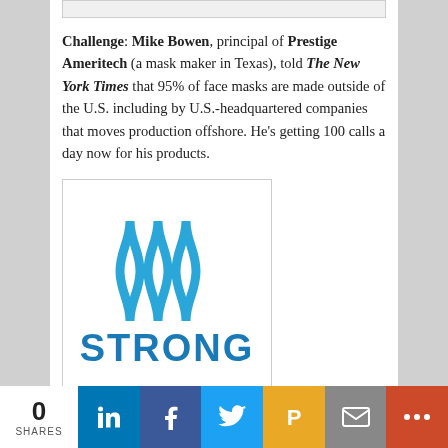[Figure (other): Top partial image strip (cropped image at top of page)]
Challenge: Mike Bowen, principal of Prestige Ameritech (a mask maker in Texas), told The New York Times that 95% of face masks are made outside of the U.S. including by U.S.-headquartered companies that moves production offshore. He's getting 100 calls a day now for his products.
[Figure (logo): Strong Manufacturing logo — blue wavy lines above the word STRONG in bold blue sans-serif text]
Challenge: Even for those companies making masks in the United States, we cite the example of Strong Manufacturing in Charlotte, North Carolina, making of 9